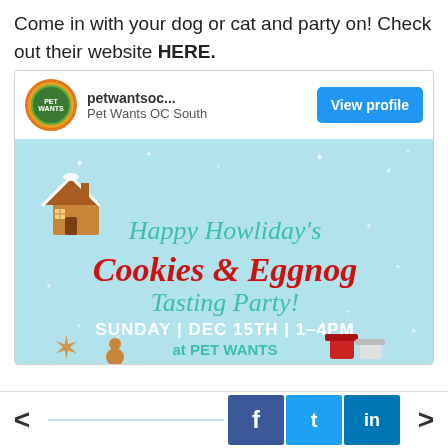Come in with your dog or cat and party on! Check out their website HERE.
[Figure (screenshot): Social media post card for Pet Wants OC South showing a Happy Howliday's Cookies & Eggnog Tasting Party event on Sunday Dec 15th 1-4PM at Pet Wants, with a light blue holiday themed background, gingerbread house icon, and decorative cookie illustrations.]
< f t in >